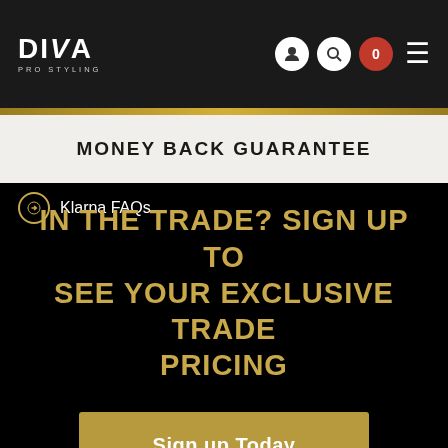[Figure (logo): Diva Pro Styling logo — white text on dark background]
MONEY BACK GUARANTEE
Klarna FAQs
IN THE TRADE? SIGN UP TO SEE YOUR EXCLUSIVE TRADE PRICING
Sign up Today